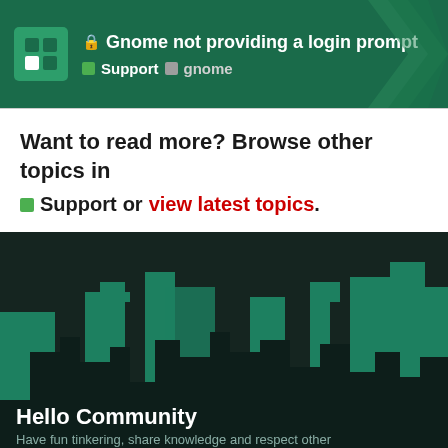🔒 Gnome not providing a login prompt — Support > gnome
Want to read more? Browse other topics in Support or view latest topics.
[Figure (illustration): City skyline silhouette with dark foreground buildings and teal/green mid-ground buildings against a dark background. Shows a community forum footer with 'Hello Community' heading and tagline.]
Hello Community
Have fun tinkering, share knowledge and respect other members.